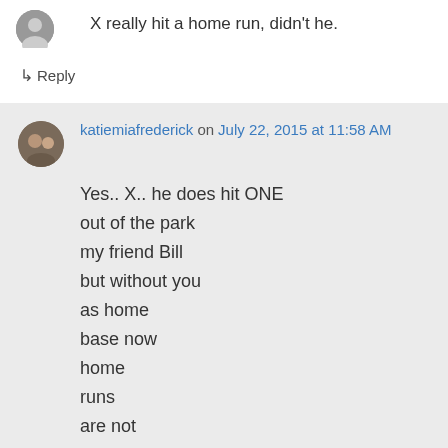X really hit a home run, didn't he.
↳ Reply
katiemiafrederick on July 22, 2015 at 11:58 AM
Yes.. X.. he does hit ONE
out of the park
my friend Bill
but without you
as home
base now
home
runs
are not
poss